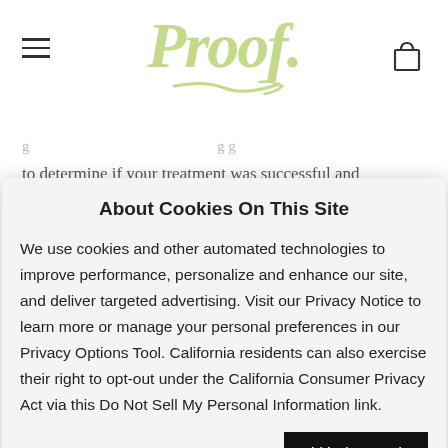[Figure (logo): Proof brand logo in light green/yellow-green italic serif font with decorative underline swash]
to determine if your treatment was successful and unfortunately, it's impossible to know overnight. Following
About Cookies On This Site
We use cookies and other automated technologies to improve performance, personalize and enhance our site, and deliver targeted advertising. Visit our Privacy Notice to learn more or manage your personal preferences in our Privacy Options Tool. California residents can also exercise their right to opt-out under the California Consumer Privacy Act via this Do Not Sell My Personal Information link.